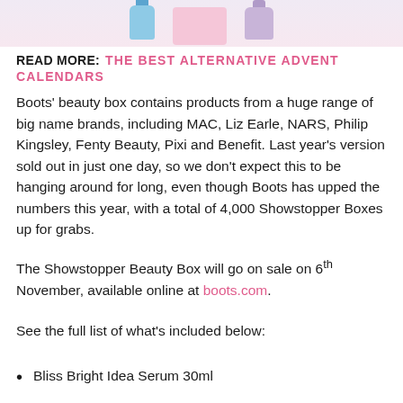[Figure (photo): Top portion of a beauty/cosmetics product photo showing bottles and pink packaging against a light pink background]
READ MORE: THE BEST ALTERNATIVE ADVENT CALENDARS
Boots' beauty box contains products from a huge range of big name brands, including MAC, Liz Earle, NARS, Philip Kingsley, Fenty Beauty, Pixi and Benefit. Last year's version sold out in just one day, so we don't expect this to be hanging around for long, even though Boots has upped the numbers this year, with a total of 4,000 Showstopper Boxes up for grabs.
The Showstopper Beauty Box will go on sale on 6th November, available online at boots.com.
See the full list of what's included below:
Bliss Bright Idea Serum 30ml